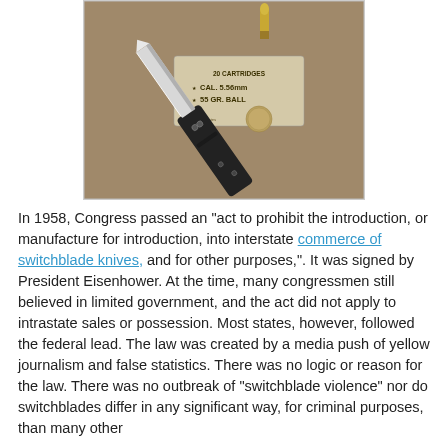[Figure (photo): A folding knife (black handle, partially open blade), a rifle cartridge (brass/gold colored bullet), and a box of ammunition labeled '20 CARTRIDGES CAL. 5.56mm 55 GR. BALL' with a coin, on a tan/brown background.]
In 1958, Congress passed an "act to prohibit the introduction, or manufacture for introduction, into interstate commerce of switchblade knives, and for other purposes,".  It was signed by President Eisenhower.  At the time, many congressmen still believed in limited government, and the act did not apply to intrastate sales or possession.   Most states, however, followed the federal lead. The law was created by a media push of yellow journalism and false statistics.   There was no logic or reason for the law.  There was no outbreak of "switchblade violence" nor do switchblades differ in any significant way, for criminal purposes, than many other